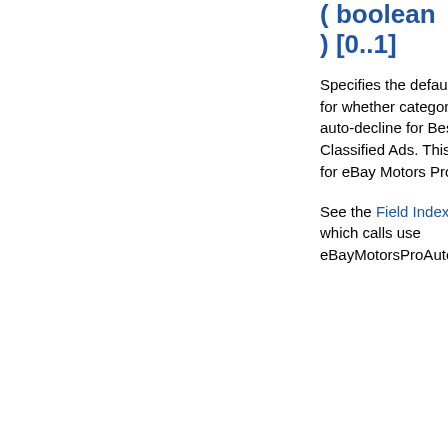( boolean ) [0..1]
Specifies the default site setting for whether categories allow auto-decline for Best Offers for Classified Ads. This element is for eBay Motors Pro users.
See the Field Index to learn which calls use eBayMotorsProAutoDe...